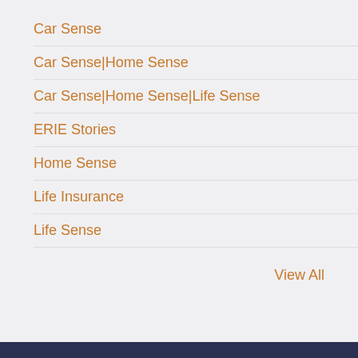Car Sense
Car Sense|Home Sense
Car Sense|Home Sense|Life Sense
ERIE Stories
Home Sense
Life Insurance
Life Sense
View All